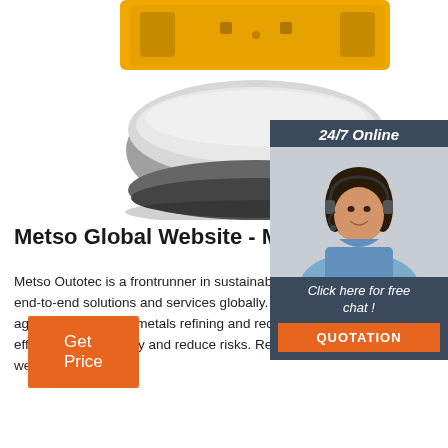[Figure (photo): Industrial roller/compactor machine in yellow and gray/silver, partially cropped at top of page]
[Figure (infographic): 24/7 Online chat panel overlay with a smiling female customer service representative wearing headset, blue uniform, dark background panel with 'Click here for free chat!' text and orange QUOTATION button]
Metso Global Website - Metso
Metso Outotec is a frontrunner in sustainable processing technologies, end-to-end solutions and services globally. The company helps aggregates, mining, metals refining and recycling customers improve efficiency, productivity and reduce risks. Read more on Metso Outotec website.
Get Price